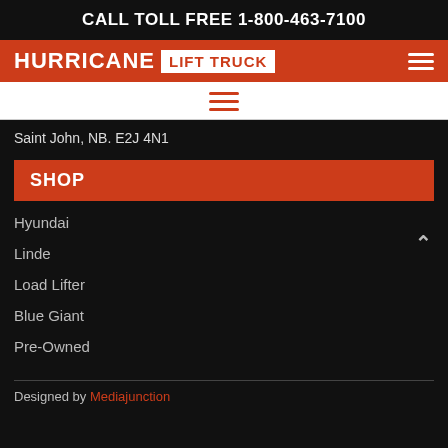CALL TOLL FREE 1-800-463-7100
[Figure (logo): Hurricane Lift Truck logo on orange bar with hamburger menu icon]
[Figure (other): Hamburger menu icon in orange on white background]
Saint John, NB. E2J 4N1
SHOP
Hyundai
Linde
Load Lifter
Blue Giant
Pre-Owned
Designed by Mediajunction